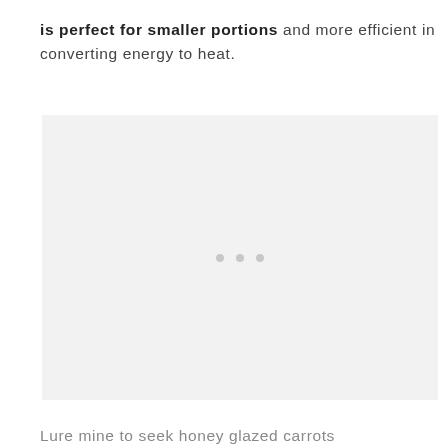is perfect for smaller portions and more efficient in converting energy to heat.
[Figure (photo): A light gray placeholder image area with three small gray dots centered near the bottom, indicating a loading or empty image state.]
Lure mine to seek honey glazed carrots